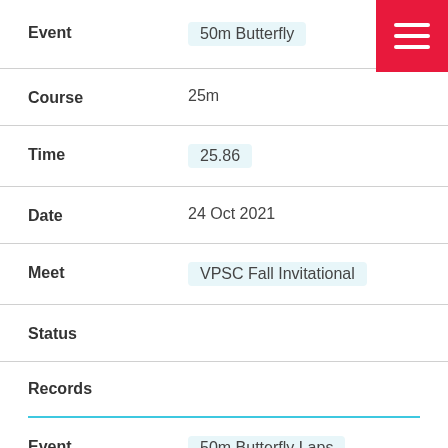Event: 50m Butterfly
Course: 25m
Time: 25.86
Date: 24 Oct 2021
Meet: VPSC Fall Invitational
Status:
Records
Event: 50m Butterfly Laps
Course: 25m